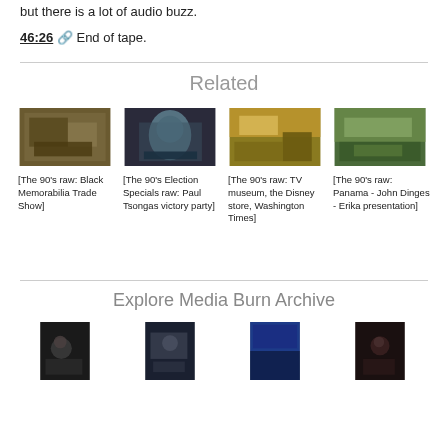but there is a lot of audio buzz.
46:26 🔗 End of tape.
Related
[Figure (photo): Thumbnail image related to The 90's raw: Black Memorabilia Trade Show]
[Figure (photo): Thumbnail image related to The 90's Election Specials raw: Paul Tsongas victory party]
[Figure (photo): Thumbnail image related to The 90's raw: TV museum, the Disney store, Washington Times]
[Figure (photo): Thumbnail image related to The 90's raw: Panama - John Dinges - Erika presentation]
[The 90's raw: Black Memorabilia Trade Show]
[The 90's Election Specials raw: Paul Tsongas victory party]
[The 90's raw: TV museum, the Disney store, Washington Times]
[The 90's raw: Panama - John Dinges - Erika presentation]
Explore Media Burn Archive
[Figure (photo): Thumbnail image 1 from Media Burn Archive]
[Figure (photo): Thumbnail image 2 from Media Burn Archive]
[Figure (photo): Thumbnail image 3 from Media Burn Archive]
[Figure (photo): Thumbnail image 4 from Media Burn Archive]